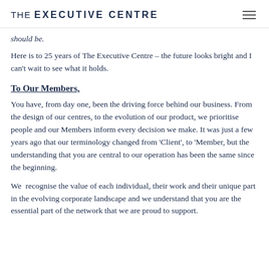THE EXECUTIVE CENTRE
should be.
Here is to 25 years of The Executive Centre – the future looks bright and I can't wait to see what it holds.
To Our Members,
You have, from day one, been the driving force behind our business. From the design of our centres, to the evolution of our product, we prioritise people and our Members inform every decision we make. It was just a few years ago that our terminology changed from 'Client', to 'Member, but the understanding that you are central to our operation has been the same since the beginning.
We  recognise the value of each individual, their work and their unique part in the evolving corporate landscape and we understand that you are the essential part of the network that we are proud to support.